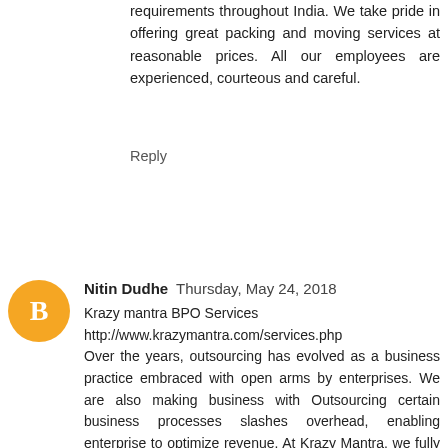requirements throughout India. We take pride in offering great packing and moving services at reasonable prices. All our employees are experienced, courteous and careful.
Reply
Nitin Dudhe  Thursday, May 24, 2018
Krazy mantra BPO Services
http://www.krazymantra.com/services.php
Over the years, outsourcing has evolved as a business practice embraced with open arms by enterprises. We are also making business with Outsourcing certain business processes slashes overhead, enabling enterprise to optimize revenue. At Krazy Mantra, we fully understand the enterprise requirement to scale up and meet enterprise goals. Through our best industry practices, business excellence, we deliver BPO/ KPO/ LPO/ RPO Solutions, helping companies to transform, remain focused on their core activities. Global clients in our fold from UK, Australia and USA among others validates are competency in the domain. And will make Sure whatever business we are making with you will provide you best Service over...